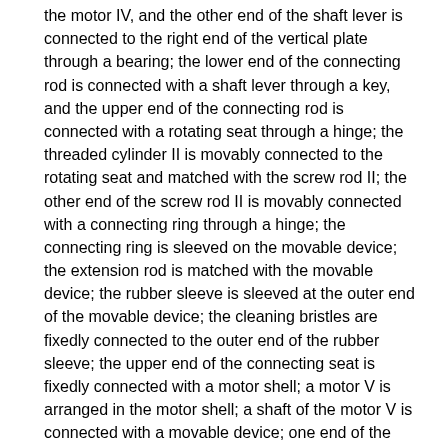the motor IV, and the other end of the shaft lever is connected to the right end of the vertical plate through a bearing; the lower end of the connecting rod is connected with a shaft lever through a key, and the upper end of the connecting rod is connected with a rotating seat through a hinge; the threaded cylinder II is movably connected to the rotating seat and matched with the screw rod II; the other end of the screw rod II is movably connected with a connecting ring through a hinge; the connecting ring is sleeved on the movable device; the extension rod is matched with the movable device; the rubber sleeve is sleeved at the outer end of the movable device; the cleaning bristles are fixedly connected to the outer end of the rubber sleeve; the upper end of the connecting seat is fixedly connected with a motor shell; a motor V is arranged in the motor shell; a shaft of the motor V is connected with a movable device; one end of the central shaft is movably connected to the left end of the vertical plate through a hinge, and the other end of the central shaft is movably connected to the side face of the connecting seat through a hinge; one end of the hydraulic cylinder is hinged to the left end of the vertical plate, and the lower end of the